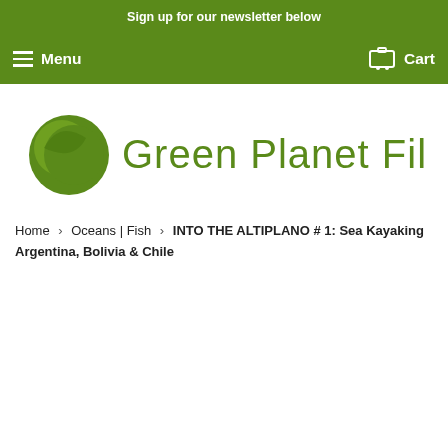Sign up for our newsletter below
Menu  Cart
[Figure (logo): Green Planet Films logo with circular green planet icon and stylized text]
Home › Oceans | Fish › INTO THE ALTIPLANO # 1: Sea Kayaking Argentina, Bolivia & Chile